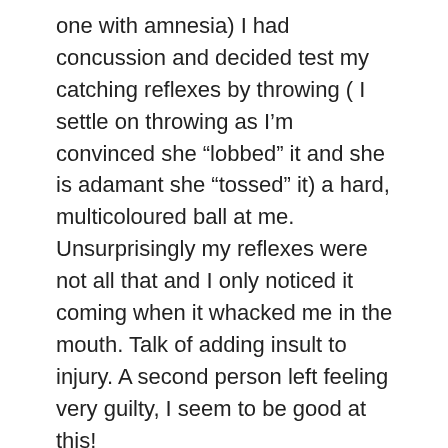one with amnesia) I had concussion and decided test my catching reflexes by throwing ( I settle on throwing as I'm convinced she "lobbed" it and she is adamant she "tossed" it) a hard, multicoloured ball at me. Unsurprisingly my reflexes were not all that and I only noticed it coming when it whacked me in the mouth. Talk of adding insult to injury. A second person left feeling very guilty, I seem to be good at this!
My first blog post has not really been what I'd envisaged. I was imagining perhaps a cute tale about my little girl or sharing one of my crafts with you. However another thing I love to do is make people smile (even if it is at my own expense). Welcome to my wonderful, unpredictable and always